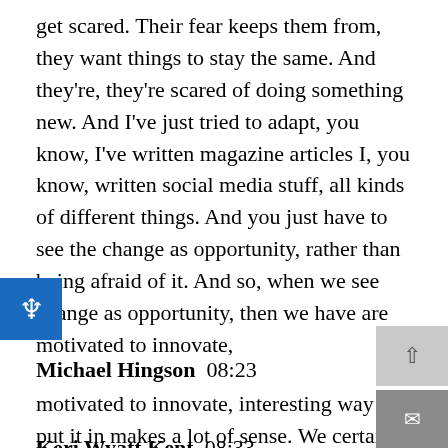get scared. Their fear keeps them from, they want things to stay the same. And they're, they're scared of doing something new. And I've just tried to adapt, you know, I've written magazine articles I, you know, written social media stuff, all kinds of different things. And you just have to see the change as opportunity, rather than being afraid of it. And so, when we see change as opportunity, then we have are motivated to innovate,
Michael Hingson  08:23
motivated to innovate, interesting way to put it in makes a lot of sense. We certainly live in a world right now, where there is a lot of demand to adapt to change for all of us.
Keri Wyatt Kent  08:33